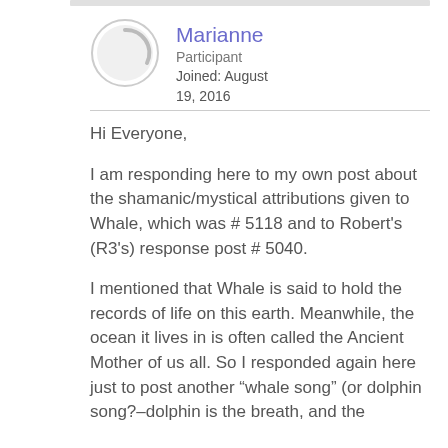Marianne
Participant
Joined: August 19, 2016
Hi Everyone,
I am responding here to my own post about the shamanic/mystical attributions given to Whale, which was # 5118 and to Robert's (R3's) response post # 5040.
I mentioned that Whale is said to hold the records of life on this earth. Meanwhile, the ocean it lives in is often called the Ancient Mother of us all. So I responded again here just to post another “whale song” (or dolphin song?–dolphin is the breath, and the